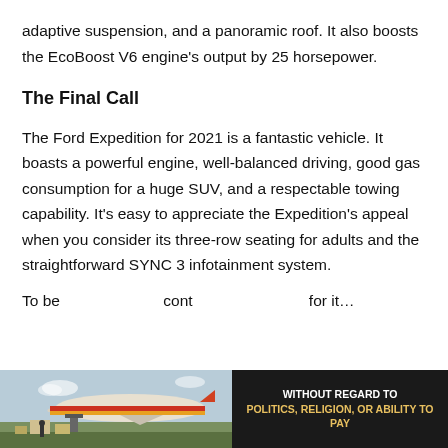adaptive suspension, and a panoramic roof. It also boosts the EcoBoost V6 engine's output by 25 horsepower.
The Final Call
The Ford Expedition for 2021 is a fantastic vehicle. It boasts a powerful engine, well-balanced driving, good gas consumption for a huge SUV, and a respectable towing capability. It's easy to appreciate the Expedition's appeal when you consider its three-row seating for adults and the straightforward SYNC 3 infotainment system.
To be...
[Figure (photo): Advertisement banner showing an airplane being loaded with cargo, with text 'WITHOUT REGARD TO POLITICS, RELIGION, OR ABILITY TO PAY' on a dark background.]